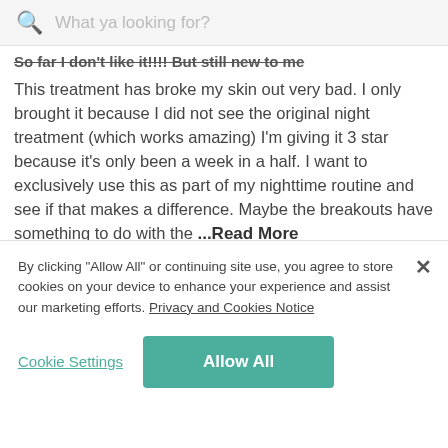What ya looking for?
So far I don't like it!!!! But still new to me
This treatment has broke my skin out very bad. I only brought it because I did not see the original night treatment (which works amazing) I'm giving it 3 star because it's only been a week in a half. I want to exclusively use this as part of my nighttime routine and see if that makes a difference. Maybe the breakouts have something to do with the ...Read More
Favorite Urban Skin Rx Products:
Night time treatment
Peel pads/ clarifying pads:
Even tone cleansing bar
Even tone moisturizer
Share | Comments (1)
By clicking "Allow All" or continuing site use, you agree to store cookies on your device to enhance your experience and assist our marketing efforts. Privacy and Cookies Notice
Cookie Settings
Allow All